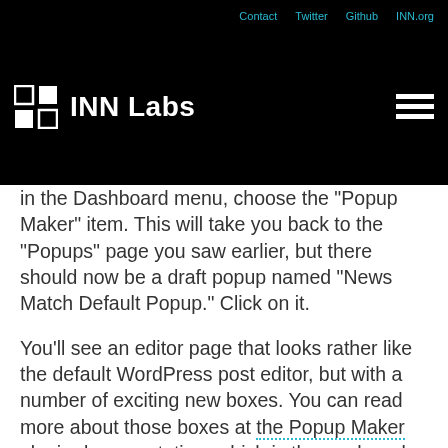Contact   Twitter   Github   INN.org   INN Labs
in the Dashboard menu, choose the "Popup Maker" item. This will take you back to the "Popups" page you saw earlier, but there should now be a draft popup named "News Match Default Popup." Click on it.
You'll see an editor page that looks rather like the default WordPress post editor, but with a number of exciting new boxes. You can read more about those boxes at the Popup Maker plugin documentation, which is thorough and well-illustrated.